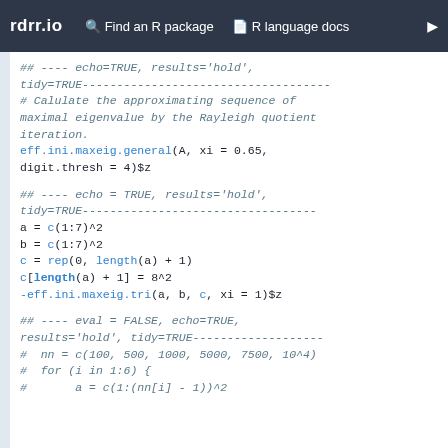rdrr.io   Find an R package   R language docs
## ---- echo=TRUE, results='hold', tidy=TRUE--------------------------------
# Calulate the approximating sequence of maximal eigenvalue by the Rayleigh quotient iteration.
eff.ini.maxeig.general(A, xi = 0.65, digit.thresh = 4)$z

## ---- echo = TRUE, results='hold', tidy=TRUE--------------------------------
a = c(1:7)^2
b = c(1:7)^2
c = rep(0, length(a) + 1)
c[length(a) + 1] = 8^2
-eff.ini.maxeig.tri(a, b, c, xi = 1)$z

## ---- eval = FALSE, echo=TRUE, results='hold', tidy=TRUE--------------------
#  nn = c(100, 500, 1000, 5000, 7500, 10^4)
#  for (i in 1:6) {
#       a = c(1:(nn[i] - 1))^2